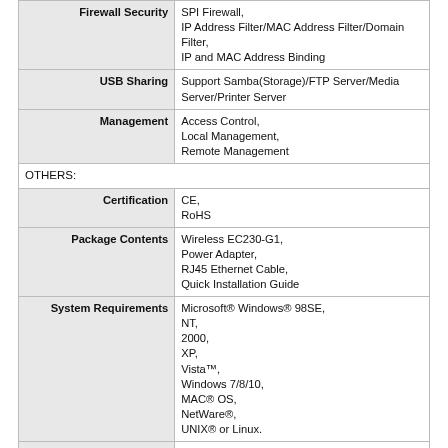| Feature | Details |
| --- | --- |
| Firewall Security | SPI Firewall,
IP Address Filter/MAC Address Filter/Domain Filter,
IP and MAC Address Binding |
| USB Sharing | Support Samba(Storage)/FTP Server/Media Server/Printer Server |
| Management | Access Control,
Local Management,
Remote Management |
| OTHERS: |  |
| Certification | CE,
RoHS |
| Package Contents | Wireless EC230-G1,
Power Adapter,
RJ45 Ethernet Cable,
Quick Installation Guide |
| System Requirements | Microsoft® Windows® 98SE,
NT,
2000,
XP,
Vista™,
Windows 7/8/10,
MAC® OS,
NetWare®,
UNIX® or Linux. |
| Environment | Operating Temperature 0°~40° (32°~104°),
Storage Temperature -40°~70° (-40°~158°),
Operating Humidity 10%~90% non-condensing,
Storage Humidity 5%~90% non-condensing |
| Manufacturer | TP-Link |
Print to PDF